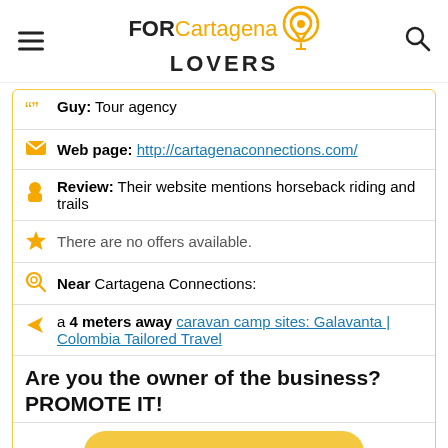FOR Cartagena LOVERS
Guy: Tour agency
Web page: http://cartagenaconnections.com/
Review: Their website mentions horseback riding and trails
There are no offers available.
Near Cartagena Connections:
a 4 meters away caravan camp sites: Galavanta | Colombia Tailored Travel
Are you the owner of the business? PROMOTE IT!
BE THE 1ST IN THE RANKING